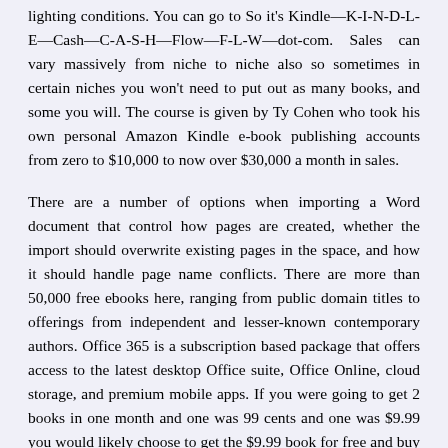lighting conditions. You can go to So it's Kindle—K-I-N-D-L-E—Cash—C-A-S-H—Flow—F-L-W—dot-com. Sales can vary massively from niche to niche also so sometimes in certain niches you won't need to put out as many books, and some you will. The course is given by Ty Cohen who took his own personal Amazon Kindle e-book publishing accounts from zero to $10,000 to now over $30,000 a month in sales.
There are a number of options when importing a Word document that control how pages are created, whether the import should overwrite existing pages in the space, and how it should handle page name conflicts. There are more than 50,000 free ebooks here, ranging from public domain titles to offerings from independent and lesser-known contemporary authors. Office 365 is a subscription based package that offers access to the latest desktop Office suite, Office Online, cloud storage, and premium mobile apps. If you were going to get 2 books in one month and one was 99 cents and one was $9.99 you would likely choose to get the $9.99 book for free and buy the 99 cent book. With each version of Microsoft Word, the standards for the DOC format change slightly which can cause some compatibility issues. Use the File > Export menu and select the image format you want and